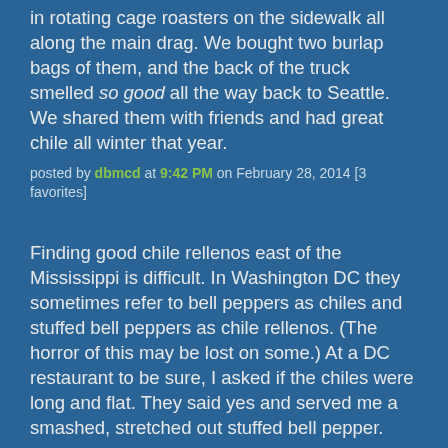in rotating cage roasters on the sidewalk all along the main drag. We bought two burlap bags of them, and the back of the truck smelled so good all the way back to Seattle. We shared them with friends and had great chile all winter that year.
posted by dbmcd at 9:42 PM on February 28, 2014 [3 favorites]
Finding good chile rellenos east of the Mississippi is difficult. In Washington DC they sometimes refer to bell peppers as chiles and stuffed bell peppers as chile rellenos. (The horror of this may be lost on some.) At a DC restaurant to be sure, I asked if the chiles were long and flat. They said yes and served me a smashed, stretched out stuffed bell pepper.
posted by dances_with_sneetches at 10:12 PM on February 28, 2014 [1 favorite]